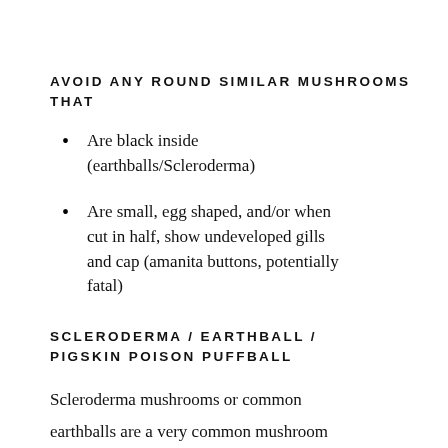AVOID ANY ROUND SIMILAR MUSHROOMS THAT
Are black inside (earthballs/Scleroderma)
Are small, egg shaped, and/or when cut in half, show undeveloped gills and cap (amanita buttons, potentially fatal)
SCLERODERMA / EARTHBALL / PIGSKIN POISON PUFFBALL
Scleroderma mushrooms or common earthballs are a very common mushroom that come up around the same time as